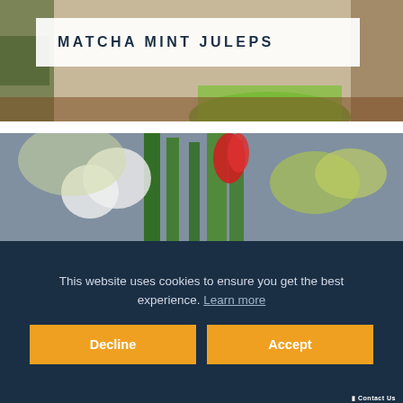[Figure (photo): Top portion showing a blurred background with a green matcha drink in a glass, with a white overlay card containing the title.]
MATCHA MINT JULEPS
[Figure (photo): Middle section showing a bouquet of spring flowers including a red tulip, white flowers, and green leaves on a grey background.]
This website uses cookies to ensure you get the best experience. Learn more
Decline
Accept
Contact Us